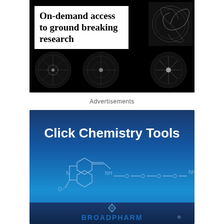[Figure (illustration): Advertisement banner with black background showing bold text 'On-demand access to ground breaking research' on white box, with spherical particle/cell microscopy images arranged around it]
Advertisements
[Figure (illustration): Advertisement banner for BroadPharm Click Chemistry Tools, blue gradient background with white chemical structure drawing of DBCO-PEG4-amine molecule and 'Click Chemistry Tools' title text, BroadPharm logo at bottom]